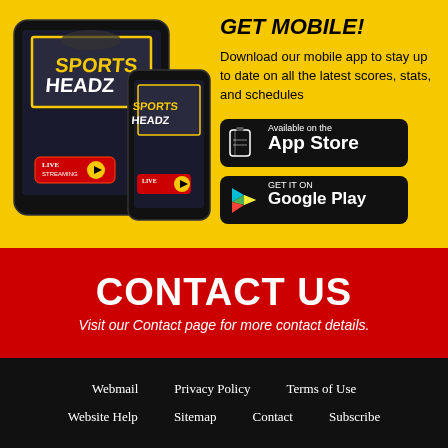[Figure (illustration): Tablet and smartphone showing Sports Headz app with Live Streaming interface on yellow background]
GET MOBILE!
Download our mobile app to stay up to date on all the latest scores, stats, and schedules
[Figure (logo): Available on the App Store button (black rounded rectangle with phone icon)]
[Figure (logo): GET IT ON Google Play button (black rounded rectangle with play triangle icon)]
CONTACT US
Visit our Contact page for more contact details.
Webmail   Privacy Policy   Terms of Use   Website Help   Sitemap   Contact   Subscribe